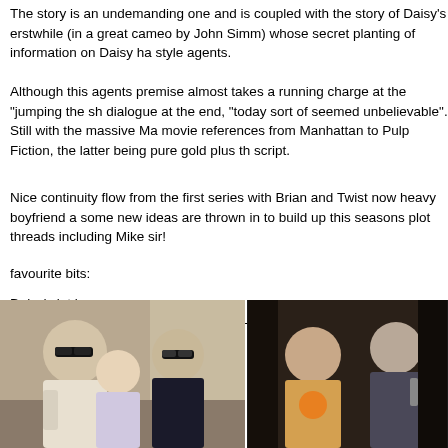The story is an undemanding one and is coupled with the story of Daisy's erstwhile (in a great cameo by John Simm) whose secret planting of information on Daisy ha style agents.
Although this agents premise almost takes a running charge at the "jumping the sh dialogue at the end, "today sort of seemed unbelievable". Still with the massive Ma movie references from Manhattan to Pulp Fiction, the latter being pure gold plus th script.
Nice continuity flow from the first series with Brian and Twist now heavy boyfriend a some new ideas are thrown in to build up this seasons plot threads including Mike sir!
favourite bits:
Daisy's jet lag nap
The quick Polaroid review of Brian and Twist's relationship.
[Figure (photo): Two men wearing sunglasses with a young woman between them, appearing to be from a TV show scene indoors.]
[Figure (photo): A woman and a man standing together in a dark scene, the man appears to be holding something.]